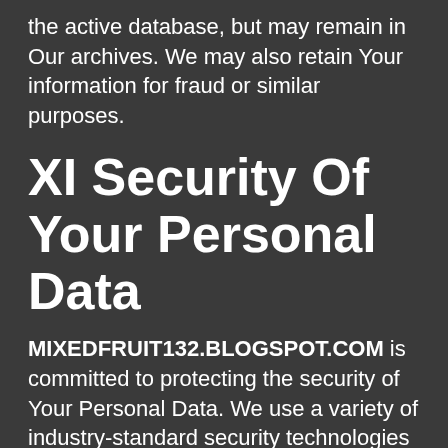the active database, but may remain in Our archives. We may also retain Your information for fraud or similar purposes.
XI Security Of Your Personal Data
MIXEDFRUIT132.BLOGSPOT.COM is committed to protecting the security of Your Personal Data. We use a variety of industry-standard security technologies and procedures to help protect Your Personal Data from unauthorized access, use, or disclosure. We also require You to enter a password to